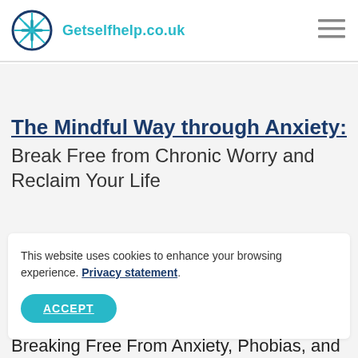Getselfhelp.co.uk
The Mindful Way through Anxiety: Break Free from Chronic Worry and Reclaim Your Life
This website uses cookies to enhance your browsing experience. Privacy statement.
ACCEPT
Breaking Free From Anxiety, Phobias, and